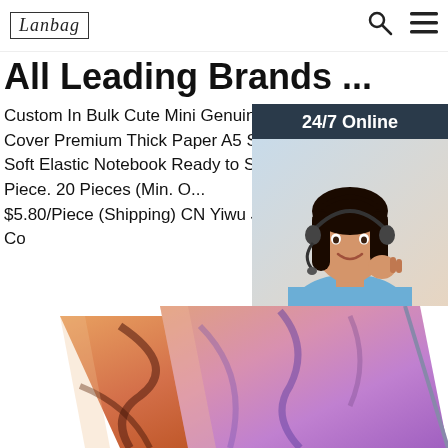Lanbag | Search | Menu
All Leading Brands ...
Custom In Bulk Cute Mini Genuin Leather Hard Cover Premium Thick Paper A5 Simple Deboss Soft Elastic Notebook Ready to Ship. $2.20-$2.80 Piece. 20 Pieces (Min. O... $5.80/Piece (Shipping) CN Yiwu Jiumu Stationery Co
Get Price
[Figure (photo): Chat widget with woman wearing headset, '24/7 Online' header, 'Click here for free chat!' text, and 'QUOTATION' button]
[Figure (photo): Two colorful notebooks with marble-like orange and purple covers, overlapping, photographed from above]